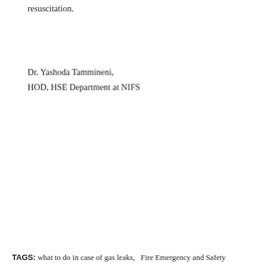resuscitation.
Dr. Yashoda Tammineni,
HOD, HSE Department at NIFS
TAGS: what to do in case of gas leaks,   Fire Emergency and Safety